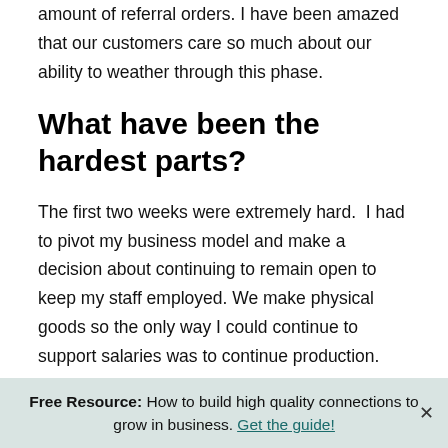amount of referral orders. I have been amazed that our customers care so much about our ability to weather through this phase.
What have been the hardest parts?
The first two weeks were extremely hard.  I had to pivot my business model and make a decision about continuing to remain open to keep my staff employed. We make physical goods so the only way I could continue to support salaries was to continue production. Making that decision felt like a huge responsibility. On top of keeping our work environment safe, we had to deal with our
Free Resource: How to build high quality connections to grow in business. Get the guide!